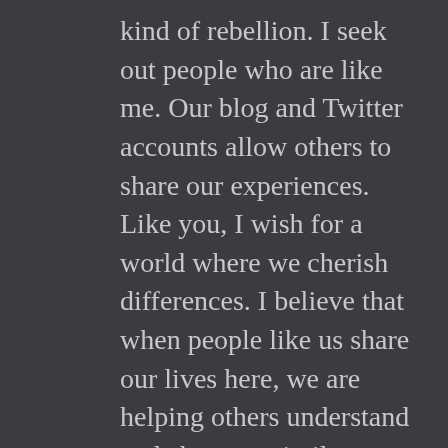kind of rebellion. I seek out people who are like me. Our blog and Twitter accounts allow others to share our experiences. Like you, I wish for a world where we cherish differences. I believe that when people like us share our lives here, we are helping others understand and choose a similar lifestyle.
My blog used to draw insulting comments. That stopped about five years ago. I think that people who condemn our point of view got tired of reading about how much fun we have. I like your blog. I often read it. I lik...